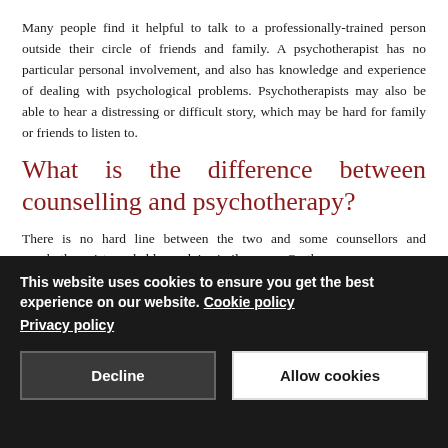Many people find it helpful to talk to a professionally-trained person outside their circle of friends and family. A psychotherapist has no particular personal involvement, and also has knowledge and experience of dealing with psychological problems. Psychotherapists may also be able to hear a distressing or difficult story, which may be hard for family or friends to listen to.
What is the difference between counselling and psychotherapy?
There is no hard line between the two and some counsellors and psychotherapists probably work in similar ways. On the
This website uses cookies to ensure you get the best experience on our website. Cookie policy
Privacy policy